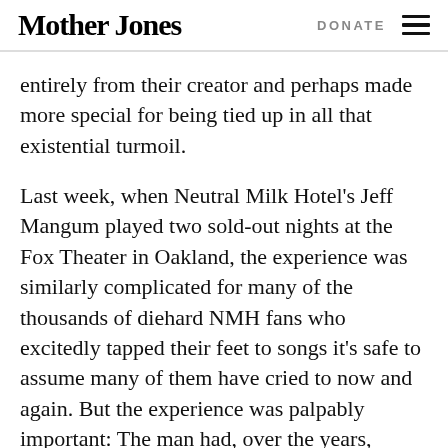Mother Jones | DONATE
entirely from their creator and perhaps made more special for being tied up in all that existential turmoil.
Last week, when Neutral Milk Hotel's Jeff Mangum played two sold-out nights at the Fox Theater in Oakland, the experience was similarly complicated for many of the thousands of diehard NMH fans who excitedly tapped their feet to songs it's safe to assume many of them have cried to now and again. But the experience was palpably important: The man had, over the years, begun to matter as much as the music.